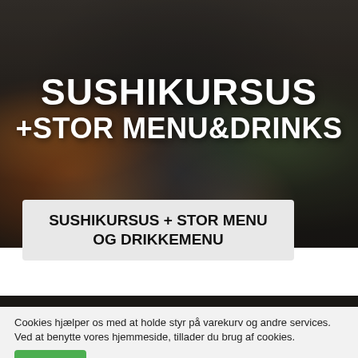[Figure (photo): Overhead view of a sushi-making workshop with plates of Japanese food on a dark table, with bold white text overlay reading SUSHIKURSUS +STOR MENU&DRINKS]
SUSHIKURSUS + STOR MENU OG DRIKKEMENU
Cookies hjælper os med at holde styr på varekurv og andre services. Ved at benytte vores hjemmeside, tillader du brug af cookies.
OK   Læs mere